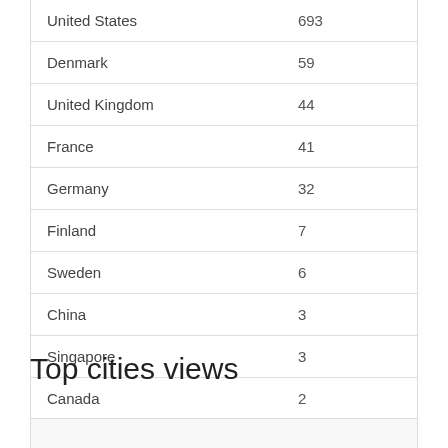| Country | Views |
| --- | --- |
| United States | 693 |
| Denmark | 59 |
| United Kingdom | 44 |
| France | 41 |
| Germany | 32 |
| Finland | 7 |
| Sweden | 6 |
| China | 3 |
| Singapore | 3 |
| Canada | 2 |
Top cities views